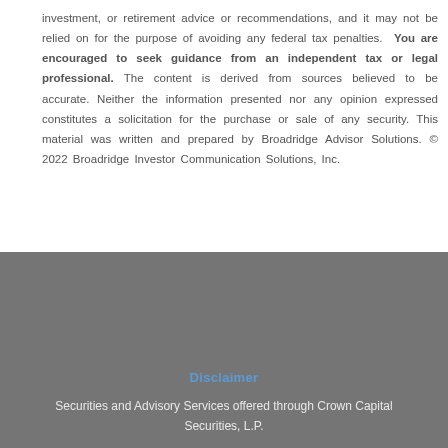investment, or retirement advice or recommendations, and it may not be relied on for the purpose of avoiding any federal tax penalties. You are encouraged to seek guidance from an independent tax or legal professional. The content is derived from sources believed to be accurate. Neither the information presented nor any opinion expressed constitutes a solicitation for the purchase or sale of any security. This material was written and prepared by Broadridge Advisor Solutions. © 2022 Broadridge Investor Communication Solutions, Inc.
Disclaimer
Securities and Advisory Services offered through Crown Capital Securities, L.P.